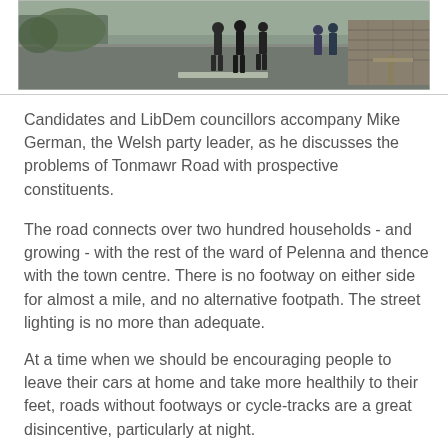[Figure (photo): Photograph showing candidates and LibDem councillors walking along Tonmawr Road with Mike German, the Welsh party leader. People are visible on the road and beside a stone wall, with a construction or roadworks scene.]
Candidates and LibDem councillors accompany Mike German, the Welsh party leader, as he discusses the problems of Tonmawr Road with prospective constituents.
The road connects over two hundred households - and growing - with the rest of the ward of Pelenna and thence with the town centre. There is no footway on either side for almost a mile, and no alternative footpath. The street lighting is no more than adequate.
At a time when we should be encouraging people to leave their cars at home and take more healthily to their feet, roads without footways or cycle-tracks are a great disincentive, particularly at night.
We understand that Labour has consistently before council elections promised to have this road improved, only to forget about it once in office. The official story from the engineer's